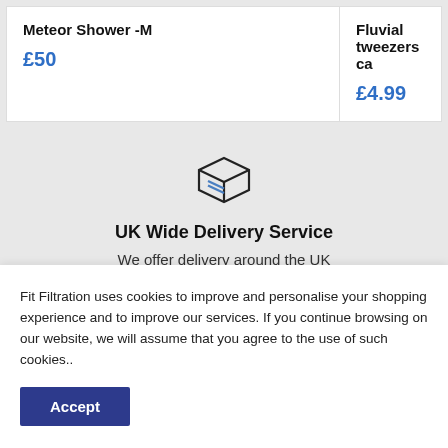Meteor Shower -M
£50
Fluvial tweezers ca
£4.99
[Figure (illustration): Box/package delivery icon, line art style, dark outline with two blue horizontal stripes on the box face]
UK Wide Delivery Service
We offer delivery around the UK
Fit Filtration uses cookies to improve and personalise your shopping experience and to improve our services. If you continue browsing on our website, we will assume that you agree to the use of such cookies..
Accept